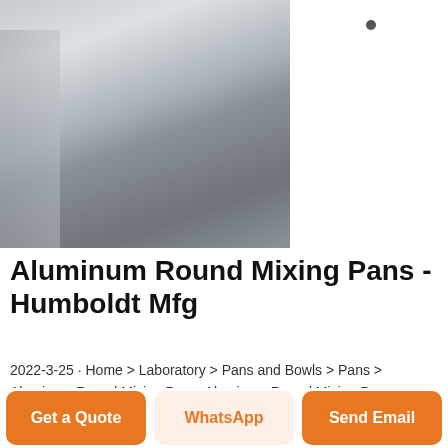[Figure (photo): Photo of stacked aluminum sheets/plates with a metallic silver-grey finish, viewed at an angle.]
Aluminum Round Mixing Pans - Humboldt Mfg
2022-3-25 · Home > Laboratory > Pans and Bowls > Pans > Aluminum Round Mixing Pans. Aluminum Round Mixing Pans. Products; Description; Product Options . Part Number & Name. Price QTY. H-4940.2 Round Mixing Pan, 9" x 1.5"